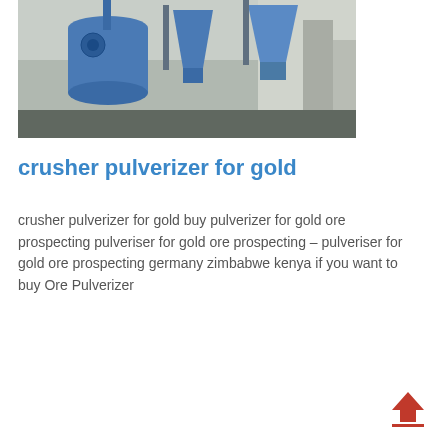[Figure (photo): Industrial crushing/pulverizing equipment in a factory setting. Blue machinery including a large cylindrical separator and hopper-shaped components, with fabric bags on the floor.]
crusher pulverizer for gold
crusher pulverizer for gold buy pulverizer for gold ore prospecting pulveriser for gold ore prospecting – pulveriser for gold ore prospecting germany zimbabwe kenya if you want to buy Ore Pulverizer